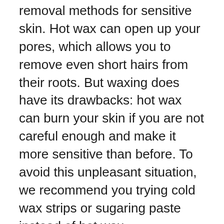Waxing is considered to be one of the best hair removal methods for sensitive skin. Hot wax can open up your pores, which allows you to remove even short hairs from their roots. But waxing does have its drawbacks: hot wax can burn your skin if you are not careful enough and make it more sensitive than before. To avoid this unpleasant situation, we recommend you trying cold wax strips or sugaring paste instead of hot wax –
Hair removal is a daily ritual for many of us. We don't leave the house without first removing unwanted hair from our bodies. Determining the best hair removal method for sensitive skin can be challenging. The most popular methods, shaving and waxing, can cause irritation and discomfort for those with sensitive skin.